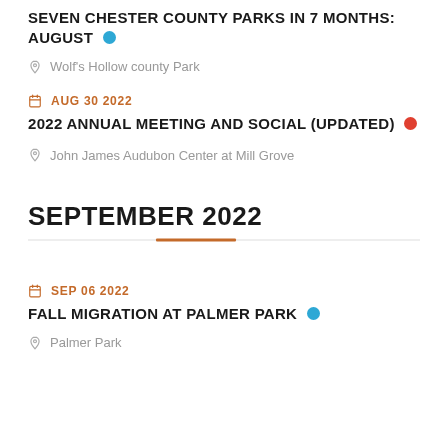SEVEN CHESTER COUNTY PARKS IN 7 MONTHS: AUGUST
Wolf's Hollow county Park
AUG 30 2022
2022 ANNUAL MEETING AND SOCIAL (UPDATED)
John James Audubon Center at Mill Grove
SEPTEMBER 2022
SEP 06 2022
FALL MIGRATION AT PALMER PARK
Palmer Park